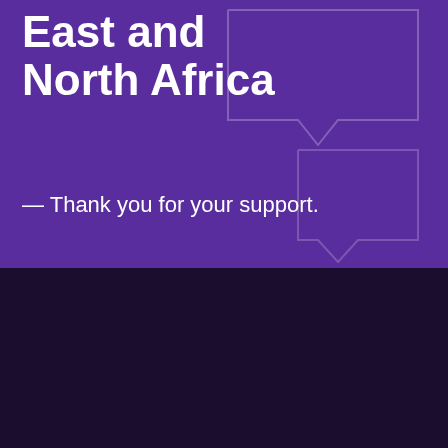East and North Africa
— Thank you for your support.
[Figure (logo): MENA Rights Group logo: decorative star/rosette outline with equals sign inside, followed by text 'MENA Rights Group']